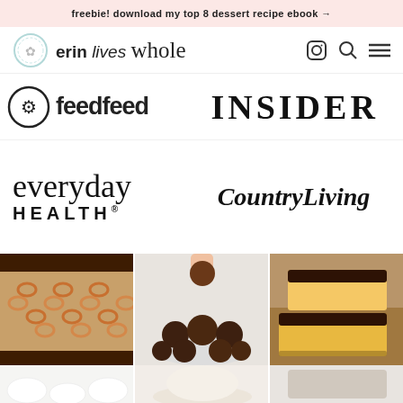freebie! download my top 8 dessert recipe ebook →
[Figure (logo): Erin Lives Whole website navigation bar with logo and icons (Instagram, search, menu)]
[Figure (logo): Brand logos: feedfeed, INSIDER, everyday HEALTH, CountryLiving]
[Figure (photo): Three food photos: chocolate cereal bars, chocolate truffles/energy balls being picked up, chocolate caramel squares stacked]
[Figure (photo): Partial bottom strip of food photos (white fluffy cookies/meringues, powdered sugar dusted item)]